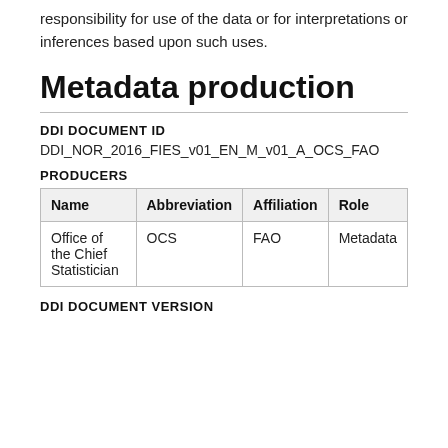responsibility for use of the data or for interpretations or inferences based upon such uses.
Metadata production
DDI DOCUMENT ID
DDI_NOR_2016_FIES_v01_EN_M_v01_A_OCS_FAO
PRODUCERS
| Name | Abbreviation | Affiliation | Role |
| --- | --- | --- | --- |
| Office of the Chief Statistician | OCS | FAO | Metadata |
DDI DOCUMENT VERSION